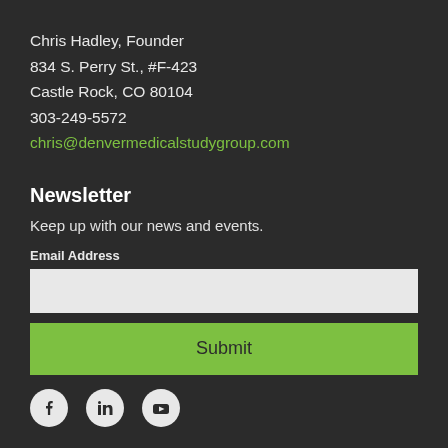Chris Hadley, Founder
834 S. Perry St., #F-423
Castle Rock, CO 80104
303-249-5572
chris@denvermedicalstudygroup.com
Newsletter
Keep up with our news and events.
Email Address
[Figure (other): Email address input field (empty, light gray background)]
[Figure (other): Submit button with green background]
[Figure (other): Social media icons: Facebook, LinkedIn, YouTube]